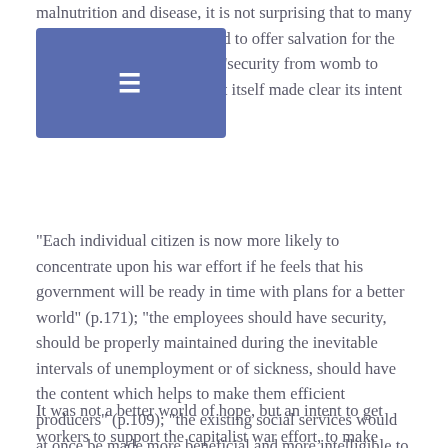malnutrition and disease, it is not surprising that to many the Beveridge Report seemed to offer salvation for the future, or as was stated then 'security from womb to tomb'. The Beveridge Report itself made clear its intent
"Each individual citizen is now more likely to concentrate upon his war effort if he feels that his government will be ready in time with plans for a better world" (p.171); "the employees should have security, should be properly maintained during the inevitable intervals of unemployment or of sickness, should have the content which helps to make them efficient producers" (p.109); "the existing social services would at once be made more beneficial and more intelligible to those whom they serve and more economical in their administration" (p.6 our emphasis).
It was not a better world of hope, but an intent to get workers to support the capitalist war effort, to make